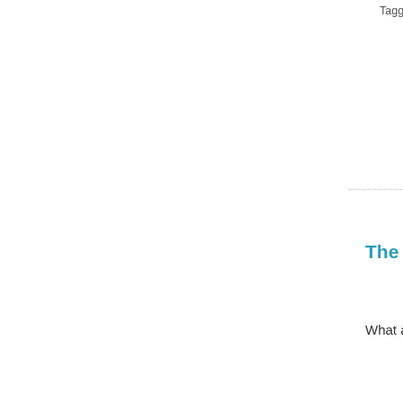Tagged as: Allie, Ca
The Swiss Cat
What a lovely we
The Swiss Cats
ATCAD  July 24
What a lovely po we missed the w bathroom with so
ATCAD recently